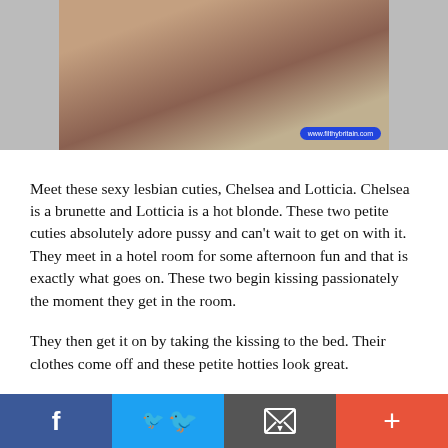[Figure (photo): A photo of two women on a bed with a watermark overlay reading www.filthybritain.com]
Meet these sexy lesbian cuties, Chelsea and Lotticia. Chelsea is a brunette and Lotticia is a hot blonde. These two petite cuties absolutely adore pussy and can't wait to get on with it. They meet in a hotel room for some afternoon fun and that is exactly what goes on. These two begin kissing passionately the moment they get in the room.
They then get it on by taking the kissing to the bed. Their clothes come off and these petite hotties look great.
[Figure (infographic): Social sharing bar with Facebook, Twitter, Email, and + buttons]